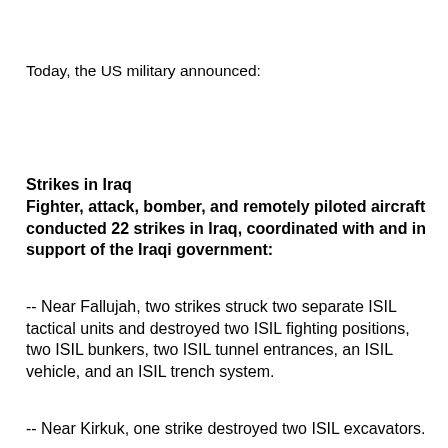Today, the US military announced:
Strikes in Iraq
Fighter, attack, bomber, and remotely piloted aircraft conducted 22 strikes in Iraq, coordinated with and in support of the Iraqi government:
-- Near Fallujah, two strikes struck two separate ISIL tactical units and destroyed two ISIL fighting positions, two ISIL bunkers, two ISIL tunnel entrances, an ISIL vehicle, and an ISIL trench system.
-- Near Kirkuk, one strike destroyed two ISIL excavators.